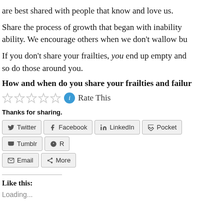are best shared with people that know and love us.
Share the process of growth that began with inability ability. We encourage others when we don't wallow bu
If you don't share your frailties, you end up empty and so do those around you.
How and when do you share your frailties and failur
Rate This
Thanks for sharing.
Twitter Facebook LinkedIn Pocket Tumblr R Email More
Like this:
Loading...